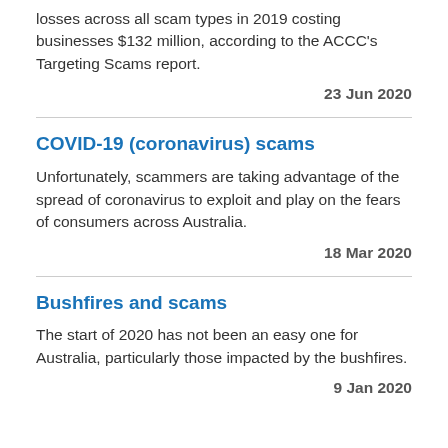losses across all scam types in 2019 costing businesses $132 million, according to the ACCC's Targeting Scams report.
23 Jun 2020
COVID-19 (coronavirus) scams
Unfortunately, scammers are taking advantage of the spread of coronavirus to exploit and play on the fears of consumers across Australia.
18 Mar 2020
Bushfires and scams
The start of 2020 has not been an easy one for Australia, particularly those impacted by the bushfires.
9 Jan 2020